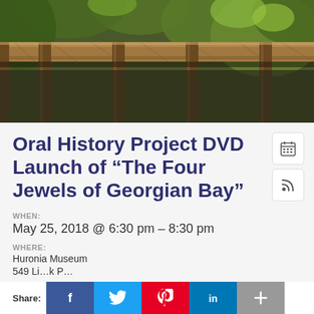[Figure (photo): Close-up photo of a wooden boardwalk railing with green foliage in the background]
Oral History Project DVD Launch of “The Four Jewels of Georgian Bay”
WHEN:
May 25, 2018 @ 6:30 pm – 8:30 pm
WHERE:
Huronia Museum
549 Li…k P…
Share: